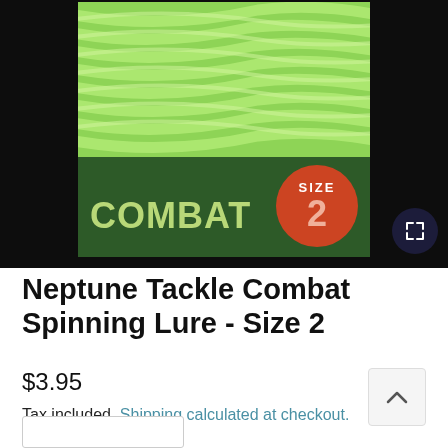[Figure (photo): Product image of Neptune Tackle Combat Spinning Lure Size 2 packaging — dark green card with bright green worm lures, 'COMBAT' text in light green, and a red circular badge showing 'SIZE 2']
Neptune Tackle Combat Spinning Lure - Size 2
$3.95
Tax included. Shipping calculated at checkout.